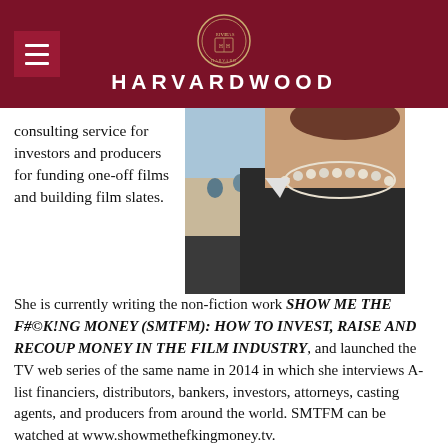HARVARDWOOD
[Figure (photo): Cropped photo of a woman wearing a pearl necklace and dark jacket, on a beach with people sitting in the background]
consulting service for investors and producers for funding one-off films and building film slates. She is currently writing the non-fiction work SHOW ME THE F#©K!NG MONEY (SMTFM): HOW TO INVEST, RAISE AND RECOUP MONEY IN THE FILM INDUSTRY, and launched the TV web series of the same name in 2014 in which she interviews A-list financiers, distributors, bankers, investors, attorneys, casting agents, and producers from around the world. SMTFM can be watched at www.showmethefkingmoney.tv.
Vinca is a regularly featured expert in the news, most recently featured in Deadline Hollywood as the curator and moderator of the ITV Fest panel, The Elephant in the Room featuring Bobby Farrelly on the Harvey Weinstein epidemic; on CBS